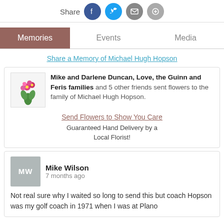Share [social icons: Facebook, Twitter, Email, Message]
Memories | Events | Media
Share a Memory of Michael Hugh Hopson
Mike and Darlene Duncan, Love, the Guinn and Feris families and 5 other friends sent flowers to the family of Michael Hugh Hopson.
Send Flowers to Show You Care
Guaranteed Hand Delivery by a Local Florist!
Mike Wilson
7 months ago
Not real sure why I waited so long to send this but coach Hopson was my golf coach in 1971 when I was at Plano